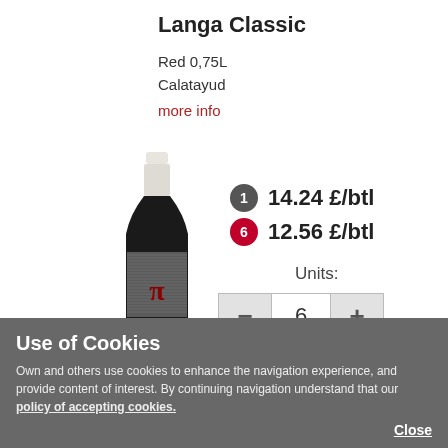Langa Classic
Red 0,75L
Calatayud
more info
[Figure (photo): A wine bottle with dark label featuring a pi symbol and text pattern, with a white capsule.]
1  14.24 £/btl
6  12.56 £/btl
Units:
— 6 +
ADD
Use of Cookies
Own and others use cookies to enhance the navigation experience, and provide content of interest. By continuing navigation understand that our policy of accepting cookies.
Close